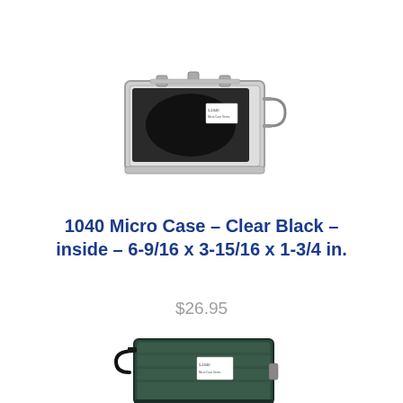[Figure (photo): Pelican 1040 Micro Case - Clear lid with black interior, showing a small hard case with a carabiner attached on the right side and a label on the front.]
1040 Micro Case – Clear Black – inside – 6-9/16 x 3-15/16 x 1-3/4 in.
$26.95
[Figure (photo): Pelican 1040 Micro Case - Dark/black solid case version showing the case from a slightly angled view with a lanyard/strap attached on the left and a label on the front.]